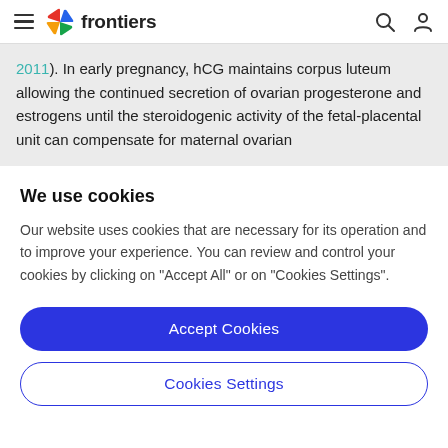frontiers (navigation bar with hamburger menu, logo, search and profile icons)
2011). In early pregnancy, hCG maintains corpus luteum allowing the continued secretion of ovarian progesterone and estrogens until the steroidogenic activity of the fetal-placental unit can compensate for maternal ovarian
We use cookies
Our website uses cookies that are necessary for its operation and to improve your experience. You can review and control your cookies by clicking on "Accept All" or on "Cookies Settings".
Accept Cookies
Cookies Settings